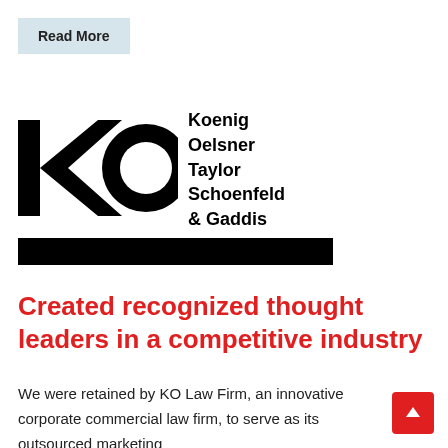Read More
[Figure (logo): KO Law Firm logo — large bold KO letters with circle in O, beside stacked text: Koenig Oelsner Taylor Schoenfeld & Gaddis, with a solid black bar beneath]
Created recognized thought leaders in a competitive industry
We were retained by KO Law Firm, an innovative corporate commercial law firm, to serve as its outsourced marketing department. Drawing on our expertise, we have